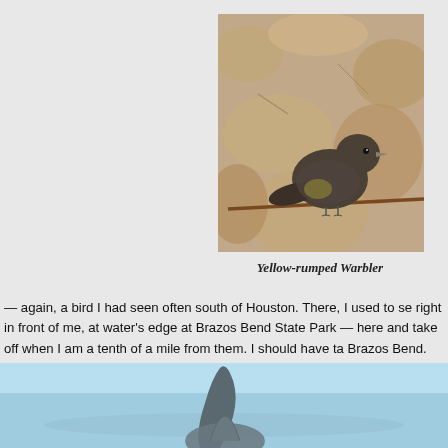[Figure (photo): A Yellow-rumped Warbler bird perched on a branch, showing a yellow patch, photographed against a rocky background]
Yellow-rumped Warbler
— again, a bird I had seen often south of Houston.  There, I used to se right in front of me, at water's edge at Brazos Bend State Park — here and take off when I am a tenth of a mile from them.  I should have ta Brazos Bend.  They just never seem to come out from behind the bra nice pictures of them, you can see this post from Victor Rakmil.  And commenters, I think these birds deserve a much nicer name than Ye to me, I would call them Sun and Shadow Warblers.)
[Figure (photo): Bottom portion of image showing a dolphin fin emerging from light blue water]